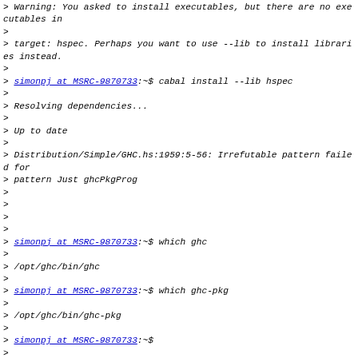> Warning: You asked to install executables, but there are no executables in
>
> target: hspec. Perhaps you want to use --lib to install libraries instead.
>
> simonpj at MSRC-9870733:~$ cabal install --lib hspec
>
> Resolving dependencies...
>
> Up to date
>
> Distribution/Simple/GHC.hs:1959:5-56: Irrefutable pattern failed for
> pattern Just ghcPkgProg
>
>
>
>
> simonpj at MSRC-9870733:~$ which ghc
>
> /opt/ghc/bin/ghc
>
> simonpj at MSRC-9870733:~$ which ghc-pkg
>
> /opt/ghc/bin/ghc-pkg
>
> simonpj at MSRC-9870733:~$
>
>
>